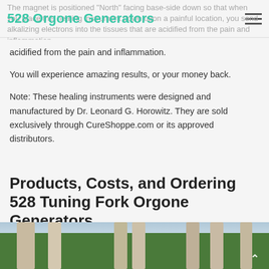528 Orgone Generators
The magnet is positioned "North" facing base-side down so that when you place this healing instrument down upon a painful location, you send alkalizing electrons into the tissues that are acidified from the pain and inflammation.
You will experience amazing results, or your money back.
Note: These healing instruments were designed and manufactured by Dr. Leonard G. Horowitz. They are sold exclusively through CureShoppe.com or its approved distributors.
Products, Costs, and Ordering 528 Tuning Fork Orgone Generators
[Figure (photo): Photograph of multiple tuning fork orgone generators standing upright outdoors with trees and sky in the background]